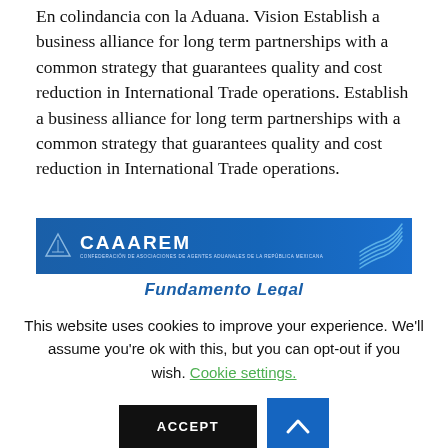En colindancia con la Aduana. Vision Establish a business alliance for long term partnerships with a common strategy that guarantees quality and cost reduction in International Trade operations. Establish a business alliance for long term partnerships with a common strategy that guarantees quality and cost reduction in International Trade operations.
[Figure (logo): CAAAREM logo banner — blue background with triangle icon on left, CAAAREM text in white bold, subtitle text below, decorative circuit-like lines on right]
Fundamento Legal
This website uses cookies to improve your experience. We'll assume you're ok with this, but you can opt-out if you wish. Cookie settings.
ACCEPT